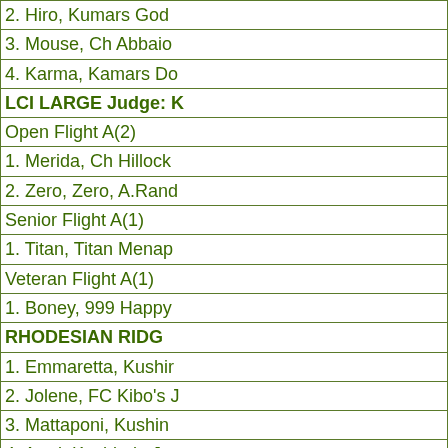2. Hiro, Kumars God
3. Mouse, Ch Abbaio
4. Karma, Kamars Do
LCI LARGE Judge: K
Open Flight A(2)
1. Merida, Ch Hillock
2. Zero, Zero, A.Rand
Senior Flight A(1)
1. Titan, Titan Menap
Veteran Flight A(1)
1. Boney, 999 Happy
RHODESIAN RIDG
1. Emmaretta, Kushir
2. Jolene, FC Kibo's J
3. Mattaponi, Kushin
4. Arroj, Kushinda Ju
Field Champion Fligh
1. Reilly, FC Diamon
2. Aggie, FC Benridg
3. Enzo, FC Mystic Is
4. Steffi, Steffi Sthira
N. Vera, GCh,DC My
Veteran Flight A(2)